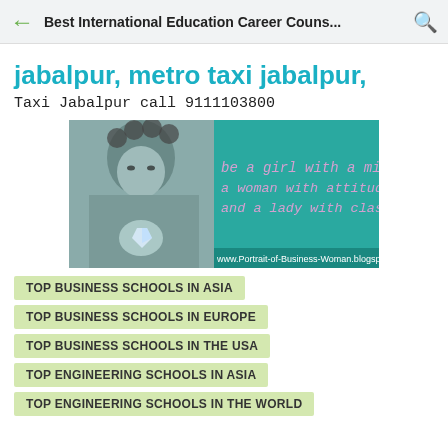Best International Education Career Couns...
jabalpur, metro taxi jabalpur,
Taxi Jabalpur call 9111103800
[Figure (photo): Banner image with a woman holding a diamond ring, teal background with text: 'be a girl with a mind, a woman with attitude, and a lady with class' and website www.Portrait-of-Business-Woman.blogspot.com]
TOP BUSINESS SCHOOLS IN ASIA
TOP BUSINESS SCHOOLS IN EUROPE
TOP BUSINESS SCHOOLS IN THE USA
TOP ENGINEERING SCHOOLS IN ASIA
TOP ENGINEERING SCHOOLS IN THE WORLD